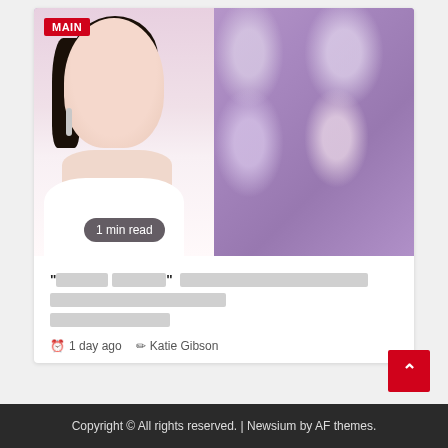[Figure (photo): Composite image: foreground shows a young Asian woman portrait on the left, background shows a group photo of multiple people with purple/pink tint. A red 'MAIN' badge is in the top-left corner. A '1 min read' badge appears at the bottom-left of the image.]
"[redacted]" [redacted text redacted text redacted text redacted] [redacted text redacted text redacted]
1 day ago  Katie Gibson
Copyright © All rights reserved. | Newsium by AF themes.